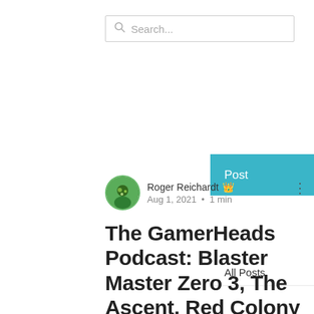Search...
Post
All Posts
Roger Reichardt  Aug 1, 2021 · 1 min
The GamerHeads Podcast: Blaster Master Zero 3, The Ascent, Red Colony 2 & Interview with Rune